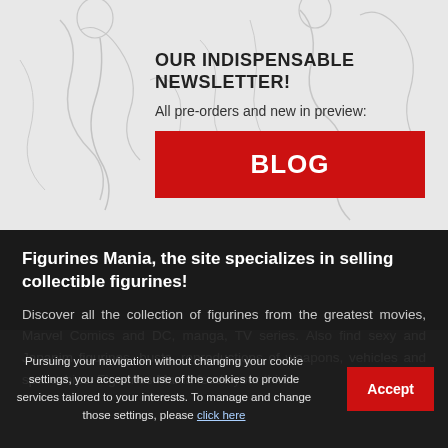OUR INDISPENSABLE NEWSLETTER!
All pre-orders and new in preview:
[Figure (other): Red button/banner with text BLOG]
Figurines Mania, the site specializes in selling collectible figurines!
Discover all the collection of figurines from the greatest movies, Marvel Comics and DC, manga, TV series. Also find sexy and Japanim figurines, busts, reproductions of weapons, vehicles and spaceships. Figurines Mania feeds your thirst
Pursuing your navigation without changing your cookie settings, you accept the use of the cookies to provide services tailored to your interests. To manage and change those settings, please click here